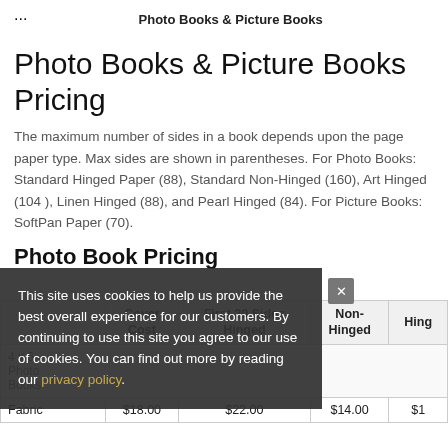Photo Books & Picture Books
Photo Books & Picture Books Pricing
The maximum number of sides in a book depends upon the page paper type. Max sides are shown in parentheses. For Photo Books: Standard Hinged Paper (88), Standard Non-Hinged (160), Art Hinged (104 ), Linen Hinged (88), and Pearl Hinged (84). For Picture Books: SoftPan Paper (70).
Photo Book Pricing
|  | Cover Cost | First 20 Sides Hinged | First 20 Sides Non-Hinged | Add Hing... |
| --- | --- | --- | --- | --- |
| 4 x 6 Photo Books |  |  |  |  |
| Fabric | $18.00 | $22.00 | $14.00 | $1... |